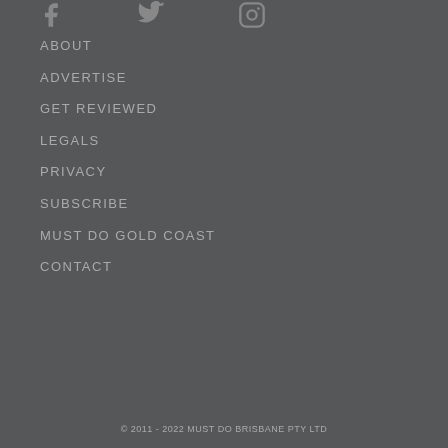[Figure (other): Social media icons row: Facebook, Twitter, Instagram icons in grey]
ABOUT
ADVERTISE
GET REVIEWED
LEGALS
PRIVACY
SUBSCRIBE
MUST DO GOLD COAST
CONTACT
© 2011 - 2022 MUST DO BRISBANE PTY LTD